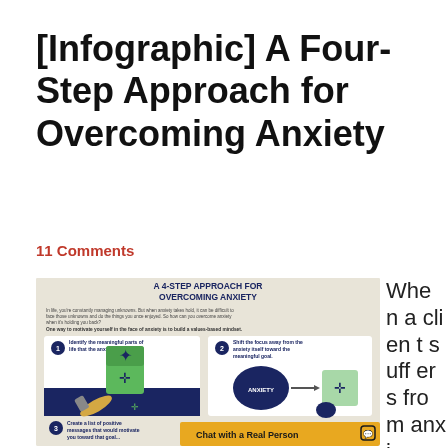[Infographic] A Four-Step Approach for Overcoming Anxiety
11 Comments
[Figure (infographic): Infographic titled 'A 4-STEP APPROACH FOR OVERCOMING ANXIETY'. Includes introductory text about managing anxiety and building a values-based mindset. Step 1: Identify the meaningful parts of life that the anxiety is blocking. Step 2: Shift the focus away from the anxiety itself toward the meaningful goal. Step 3: Create a list of positive messages that would motivate you toward that goal.]
When a client suffers from anxi